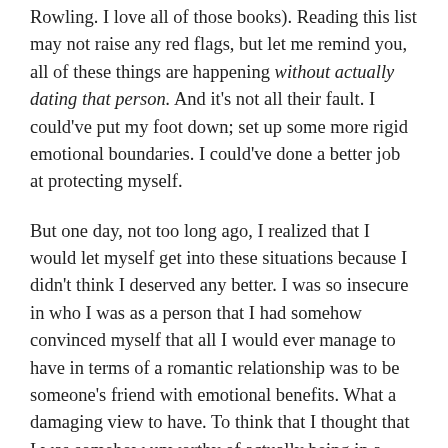Rowling. I love all of those books). Reading this list may not raise any red flags, but let me remind you, all of these things are happening without actually dating that person. And it's not all their fault. I could've put my foot down; set up some more rigid emotional boundaries. I could've done a better job at protecting myself.
But one day, not too long ago, I realized that I would let myself get into these situations because I didn't think I deserved any better. I was so insecure in who I was as a person that I had somehow convinced myself that all I would ever manage to have in terms of a romantic relationship was to be someone's friend with emotional benefits. What a damaging view to have. To think that I thought that I was somehow unworthy of actually being in a relationship with someone. I thought I didn't